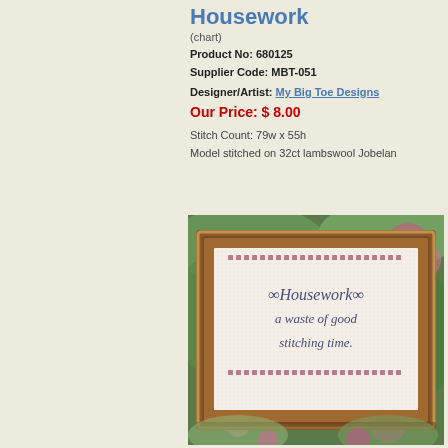Housework
(chart)
Product No: 680125
Supplier Code: MBT-051
Designer/Artist: My Big Toe Designs
Our Price: $ 8.00
Stitch Count: 79w x 55h
Model stitched on 32ct lambswool Jobelan
[Figure (photo): Framed cross-stitch embroidery in a wooden frame reading 'Housework a waste of good stitching time' surrounded by floral decorative border, placed on floral background]